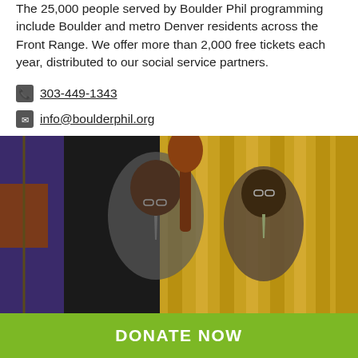The 25,000 people served by Boulder Phil programming include Boulder and metro Denver residents across the Front Range. We offer more than 2,000 free tickets each year, distributed to our social service partners.
📞 303-449-1343
✉ info@boulderphil.org
Learn More About This Non-Profit
Photos (10)  |  Videos (7)
[Figure (photo): Two men in suits, one holding a large string instrument (double bass or cello), standing in front of golden curtains and an abstract painting.]
DONATE NOW